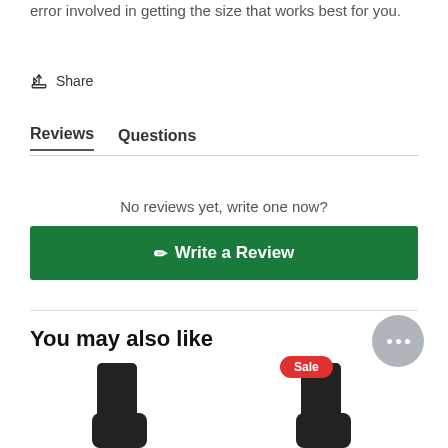error involved in getting the size that works best for you.
Share
Reviews   Questions
No reviews yet, write one now?
Write a Review
You may also like
[Figure (photo): Two product thumbnail images of black socks; the right one has a Sale badge in red.]